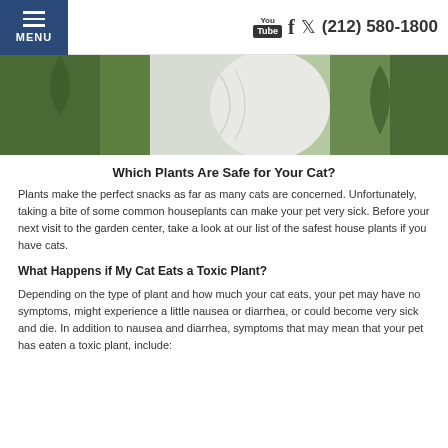MENU  (212) 580-1800
[Figure (photo): Close-up photo of a white cat near green houseplants]
Which Plants Are Safe for Your Cat?
Plants make the perfect snacks as far as many cats are concerned. Unfortunately, taking a bite of some common houseplants can make your pet very sick. Before your next visit to the garden center, take a look at our list of the safest house plants if you have cats.
What Happens if My Cat Eats a Toxic Plant?
Depending on the type of plant and how much your cat eats, your pet may have no symptoms, might experience a little nausea or diarrhea, or could become very sick and die. In addition to nausea and diarrhea, symptoms that may mean that your pet has eaten a toxic plant, include: